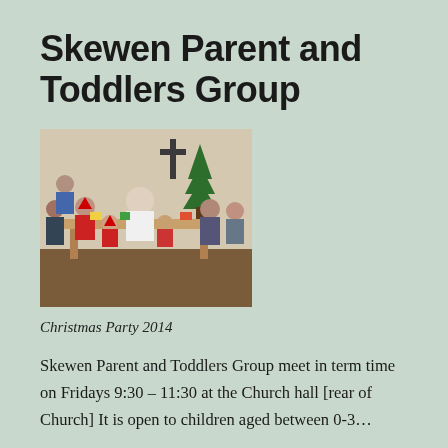Skewen Parent and Toddlers Group
[Figure (photo): A group of children and adults at a Christmas party, seated around tables in a church hall. A cross is visible on the wall and a Christmas tree in the background.]
Christmas Party 2014
Skewen Parent and Toddlers Group meet in term time on Fridays 9:30 – 11:30 at the Church hall [rear of Church] It is open to children aged between 0-3...